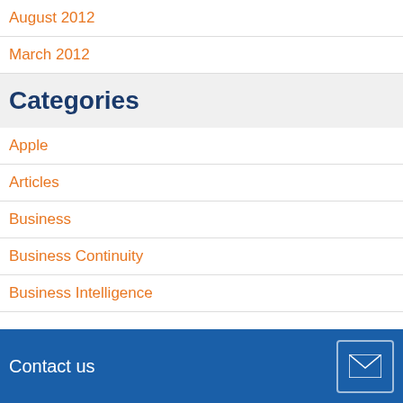August 2012
March 2012
Categories
Apple
Articles
Business
Business Continuity
Business Intelligence
Contact us